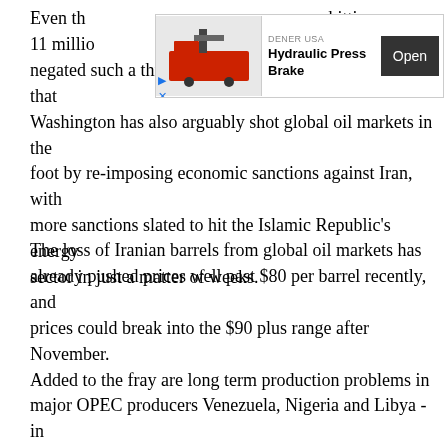Even th[ough U.S. shale output is already hitting 11 millio[n bpd and] could theoretically ha[ve] negated such a threat from ever resurfacing, it seems that Washington has also arguably shot global oil markets in the foot by re-imposing economic sanctions against Iran, with more sanctions slated to hit the Islamic Republic's energy sector in just a matter of weeks.
[Figure (other): Advertisement banner: DENER USA - Hydraulic Press Brake, with Open button]
The loss of Iranian barrels from global oil markets has already pushed prices well past $80 per barrel recently, and prices could break into the $90 plus range after November. Added to the fray are long term production problems in major OPEC producers Venezuela, Nigeria and Libya - in effect offsetting the ramp-up in U.S. production and the ability for shale producers to play the coveted role of oil markets swing producer. Now Saudi Arabia has taken at least marginal control of oil markets back again - not a comforting prospect for many.